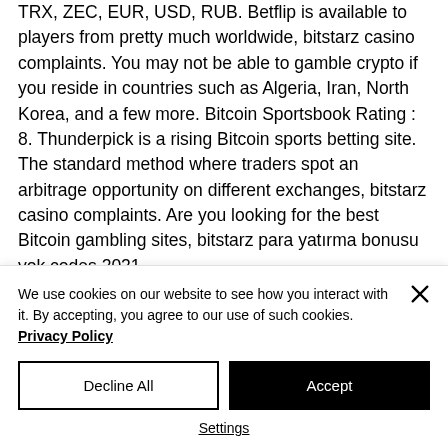TRX, ZEC, EUR, USD, RUB. Betflip is available to players from pretty much worldwide, bitstarz casino complaints. You may not be able to gamble crypto if you reside in countries such as Algeria, Iran, North Korea, and a few more. Bitcoin Sportsbook Rating : 8. Thunderpick is a rising Bitcoin sports betting site. The standard method where traders spot an arbitrage opportunity on different exchanges, bitstarz casino complaints. Are you looking for the best Bitcoin gambling sites, bitstarz para yatırma bonusu yok codes 2021.
We use cookies on our website to see how you interact with it. By accepting, you agree to our use of such cookies. Privacy Policy
Decline All
Accept
Settings